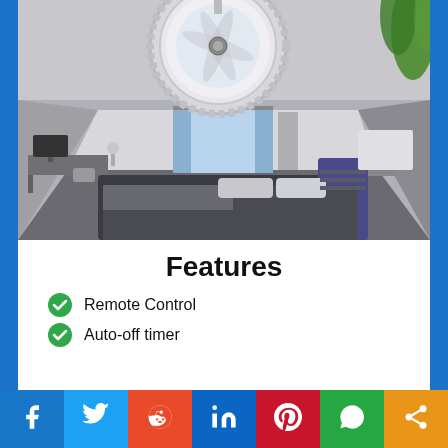[Figure (photo): A modern bedroom with a ceiling fan/light fixture mounted on the ceiling. The room features a king-size bed with dark bedding, sheer blue curtains by a window, a desk area on the left, and a lamp on the right bedside table. The ceiling fan is a round, flat LED light fixture with visible fan blades inside a circular frame.]
Features
Remote Control
Auto-off timer